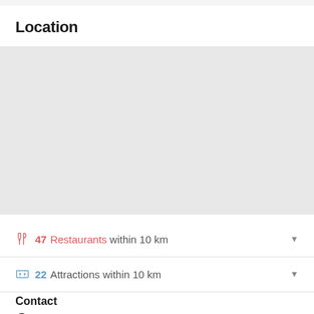Location
[Figure (map): Map placeholder showing location area]
47 Restaurants within 10 km
22 Attractions within 10 km
Contact
Plot 67 Kisubi, 1 Kilometer from Entebbe Road, Entebbe Uganda